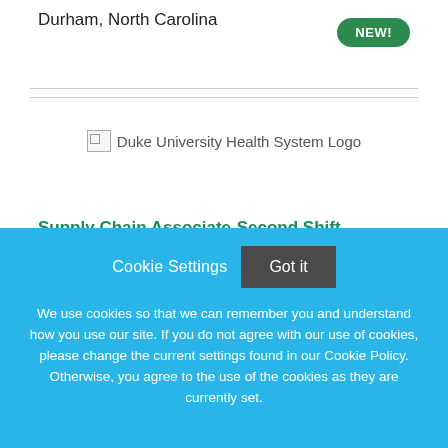Durham, North Carolina
[Figure (logo): Duke University Health System Logo (broken image placeholder)]
Supply Chain Associate-Second Shift
Duke University Health System
Cookie Settings   Got it
We use cookies so that we can remember you and understand how you use our site. If you do not agree with our use of cookies, please change the current settings found in our Cookie Policy. Otherwise, you agree to the use of the cookies as they are currently set.